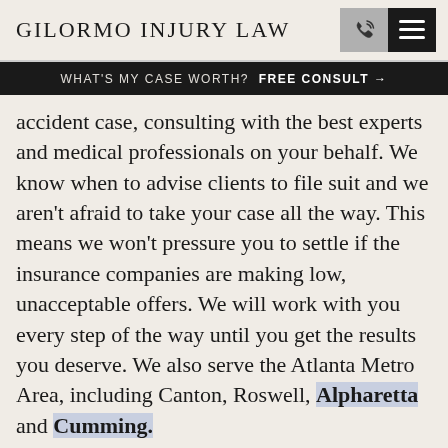GILORMO INJURY LAW
WHAT'S MY CASE WORTH?  FREE CONSULT →
accident case, consulting with the best experts and medical professionals on your behalf. We know when to advise clients to file suit and we aren't afraid to take your case all the way. This means we won't pressure you to settle if the insurance companies are making low, unacceptable offers. We will work with you every step of the way until you get the results you deserve. We also serve the Atlanta Metro Area, including Canton, Roswell, Alpharetta and Cumming.
About Founding